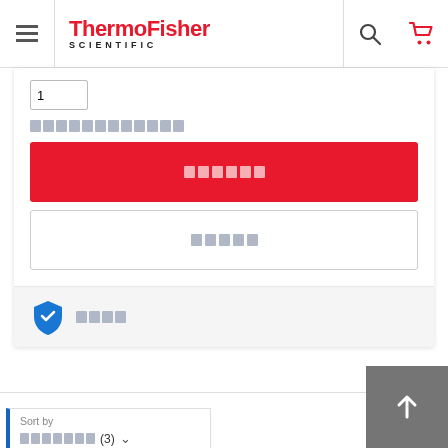[Figure (screenshot): ThermoFisher Scientific website header with hamburger menu, logo, search icon, and cart icon]
1
[redacted link text]
[Add to cart button - redacted]
[Secondary button - redacted]
[Trust badge text - redacted]
Sort by
[redacted] (3)